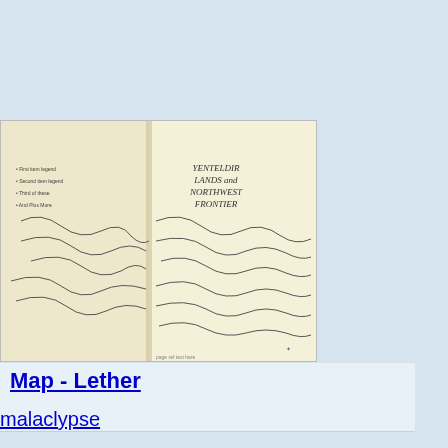[Figure (map): A fantasy map showing lands with title text reading 'YENTELDIR LANDS and NORTHWEST FRONTIER', with detailed geographical features, roads, and terrain markings on aged yellowish paper background. Two pages of a book are shown side by side.]
Map - Lether
malaclypse
0 comments / 5386 views / 0 notes
[Figure (map): A fantasy map labeled 'GENABACKIS The Pannion War and Coltaine's Mapp' showing geographical features, territories, and markings in black and white style.]